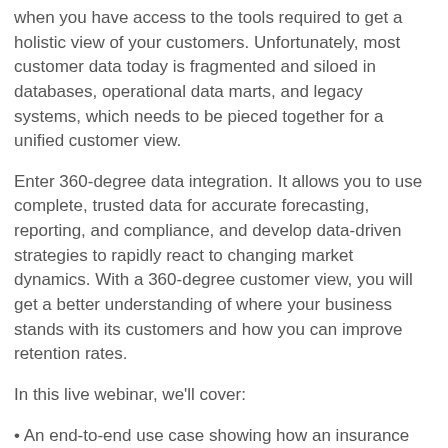when you have access to the tools required to get a holistic view of your customers. Unfortunately, most customer data today is fragmented and siloed in databases, operational data marts, and legacy systems, which needs to be pieced together for a unified customer view.
Enter 360-degree data integration. It allows you to use complete, trusted data for accurate forecasting, reporting, and compliance, and develop data-driven strategies to rapidly react to changing market dynamics. With a 360-degree customer view, you will get a better understanding of where your business stands with its customers and how you can improve retention rates.
In this live webinar, we'll cover:
• An end-to-end use case showing how an insurance provider can deploy 360-degree data integration to create a customer-centric business
• How a holistic view of customer data can improve customer retention